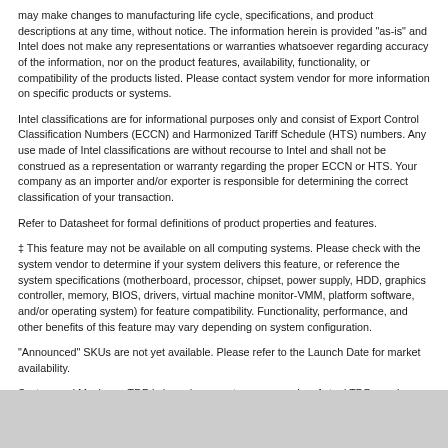may make changes to manufacturing life cycle, specifications, and product descriptions at any time, without notice. The information herein is provided "as-is" and Intel does not make any representations or warranties whatsoever regarding accuracy of the information, nor on the product features, availability, functionality, or compatibility of the products listed. Please contact system vendor for more information on specific products or systems.
Intel classifications are for informational purposes only and consist of Export Control Classification Numbers (ECCN) and Harmonized Tariff Schedule (HTS) numbers. Any use made of Intel classifications are without recourse to Intel and shall not be construed as a representation or warranty regarding the proper ECCN or HTS. Your company as an importer and/or exporter is responsible for determining the correct classification of your transaction.
Refer to Datasheet for formal definitions of product properties and features.
‡ This feature may not be available on all computing systems. Please check with the system vendor to determine if your system delivers this feature, or reference the system specifications (motherboard, processor, chipset, power supply, HDD, graphics controller, memory, BIOS, drivers, virtual machine monitor-VMM, platform software, and/or operating system) for feature compatibility. Functionality, performance, and other benefits of this feature may vary depending on system configuration.
"Announced" SKUs are not yet available. Please refer to the Launch Date for market availability.
System and Maximum TDP is based on worst case scenarios. Actual TDP may be lower if not all I/Os for chipsets are used.